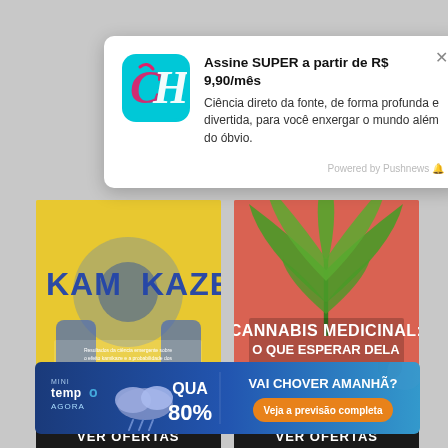[Figure (screenshot): Push notification popup card with cyan/teal logo icon showing stylized CH letters, title 'Assine SUPER a partir de R$ 9,90/mês', description text, and Powered by Pushnews footer]
Assine SUPER a partir de R$ 9,90/mês
Ciência direto da fonte, de forma profunda e divertida, para você enxergar o mundo além do óbvio.
Powered by Pushnews
[Figure (illustration): Kamikaze magazine cover with yellow background and blue text KAMIKAZE]
A PARTIR DE R$ 9,90/MÊS
[Figure (photo): Cannabis Medicinal magazine cover with red/pink background showing cannabis leaf and text CANNABIS MEDICINAL: O QUE ESPERAR DELA]
A PARTIR DE R$ 9,90/MÊS
VER OFERTAS
VER OFERTAS
[Figure (infographic): Tempo Agora weather banner advertisement showing clouds, QUA 80% rain probability, and button Veja a previsão completa]
QUA 80%
VAI CHOVER AMANHÃ?
Veja a previsão completa